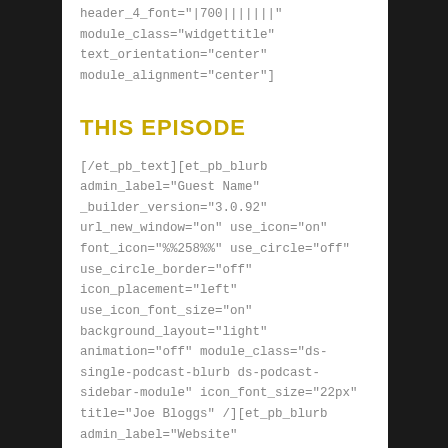header_4_font="|700|||||||"
module_class="widgettitle"
text_orientation="center"
module_alignment="center"]
THIS EPISODE
[/et_pb_text][et_pb_blurb admin_label="Guest Name" _builder_version="3.0.92" url_new_window="on" use_icon="on" font_icon="%%258%%" use_circle="off" use_circle_border="off" icon_placement="left" use_icon_font_size="on" background_layout="light" animation="off" module_class="ds-single-podcast-blurb ds-podcast-sidebar-module" icon_font_size="22px" title="Joe Bloggs" /][et_pb_blurb admin_label="Website" _builder_version="3.0.92"